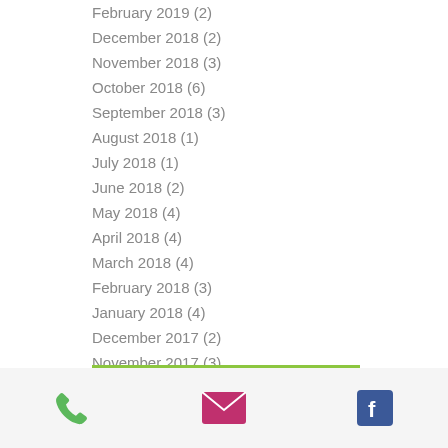February 2019 (2)
December 2018 (2)
November 2018 (3)
October 2018 (6)
September 2018 (3)
August 2018 (1)
July 2018 (1)
June 2018 (2)
May 2018 (4)
April 2018 (4)
March 2018 (4)
February 2018 (3)
January 2018 (4)
December 2017 (2)
November 2017 (3)
October 2017 (6)
September 2017 (8)
August 2017 (8)
July 2017 (7)
June 2017 (8)
[Figure (infographic): Footer bar with phone icon (green), email icon (pink/magenta envelope), and Facebook icon (blue)]